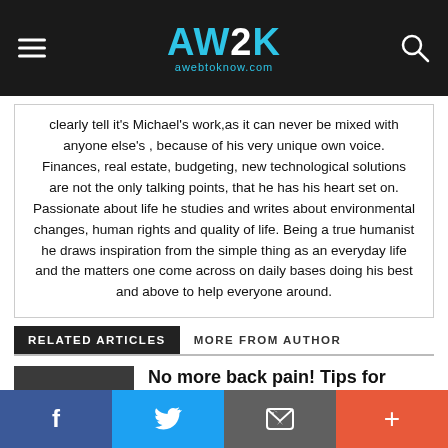AW2K awebtoknow.com
clearly tell it's Michael's work,as it can never be mixed with anyone else's , because of his very unique own voice. Finances, real estate, budgeting, new technological solutions are not the only talking points, that he has his heart set on. Passionate about life he studies and writes about environmental changes, human rights and quality of life. Being a true humanist he draws inspiration from the simple thing as an everyday life and the matters one come across on daily bases doing his best and above to help everyone around.
RELATED ARTICLES
MORE FROM AUTHOR
[Figure (photo): Thumbnail image of a person sleeping in bed, dark tones]
No more back pain! Tips for healthy sleeping